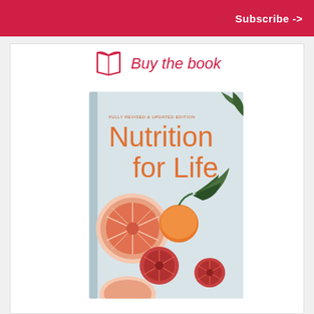Subscribe ->
Buy the book
[Figure (illustration): Book cover of 'Nutrition for Life' - Fully Revised & Updated Edition, showing citrus fruits (grapefruit halves, blood oranges, mandarins) on a light grey background]